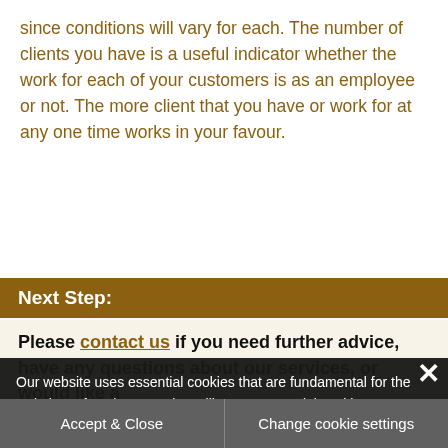since conditions will vary for each. The number of clients you have is a useful indicator whether the work for each of your customers is as an employee or not. The more client that you have or work for at any one time works in your favour.
Next Step:
Please contact us if you need further advice, have any questions about our services, or would like a
Our website uses essential cookies that are fundamental for the website to function. We also utilise non-essential cookies to enhance our digital services such as collecting anonymous information on how you use our website. By accepting you have provided your consent to the use of non-essential cookies. If you would like to change this, please click on 'Change cookie settings'.
Accept & Close
Change cookie settings